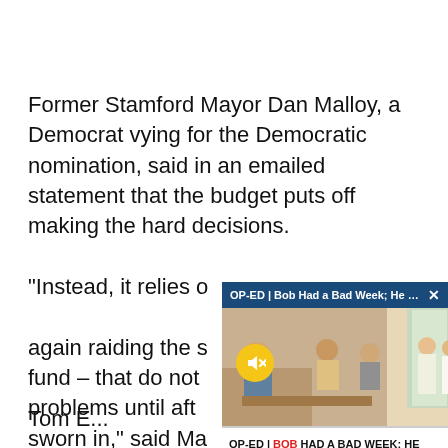Former Stamford Mayor Dan Malloy, a Democrat vying for the Democratic nomination, said in an emailed statement that the budget puts off making the hard decisions.
“Instead, it relies on one-time fixes and once again raiding the special transportation fund – that do not solve our fiscal problems until after the next governor is sworn in,” said Malloy.
[Figure (screenshot): Popup video overlay widget with dark blue title bar reading 'OP-ED | Bob Had a Bad Week; He Ca... X', a muted video thumbnail showing people in an indoor setting, and a caption bar at bottom reading 'OP-ED | BOB HAD A BAD WEEK; HE CAN’T AFFORD ANOTHER | CT NEWS JUNKIE']
Tom F...